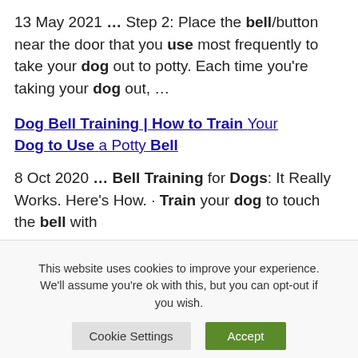13 May 2021 … Step 2: Place the bell/button near the door that you use most frequently to take your dog out to potty. Each time you're taking your dog out, …
Dog Bell Training | How to Train Your Dog to Use a Potty Bell
8 Oct 2020 … Bell Training for Dogs: It Really Works. Here's How. · Train your dog to touch the bell with
This website uses cookies to improve your experience. We'll assume you're ok with this, but you can opt-out if you wish.